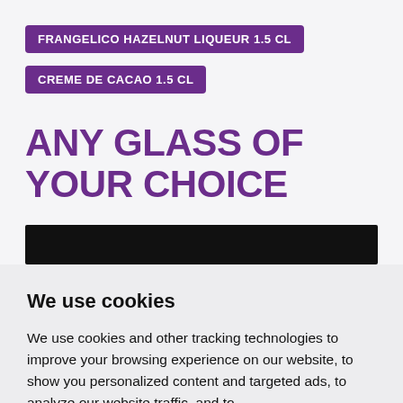FRANGELICO HAZELNUT LIQUEUR 1.5 CL
CREME DE CACAO 1.5 CL
ANY GLASS OF YOUR CHOICE
[Figure (other): Black rectangular bar, partially visible]
We use cookies
We use cookies and other tracking technologies to improve your browsing experience on our website, to show you personalized content and targeted ads, to analyze our website traffic, and to understand where our visitors are coming from.